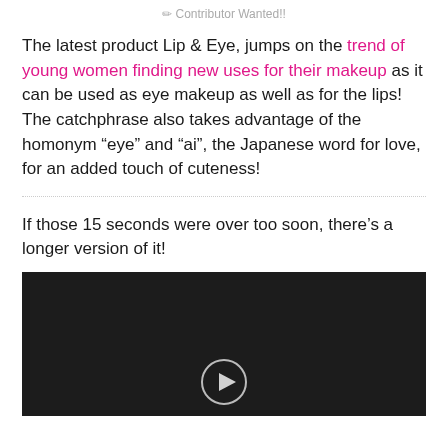✏ Contributor Wanted!!
The latest product Lip & Eye, jumps on the trend of young women finding new uses for their makeup as it can be used as eye makeup as well as for the lips! The catchphrase also takes advantage of the homonym “eye” and “ai”, the Japanese word for love, for an added touch of cuteness!
If those 15 seconds were over too soon, there’s a longer version of it!
[Figure (screenshot): Dark/black video player thumbnail with a play button icon at the bottom center]